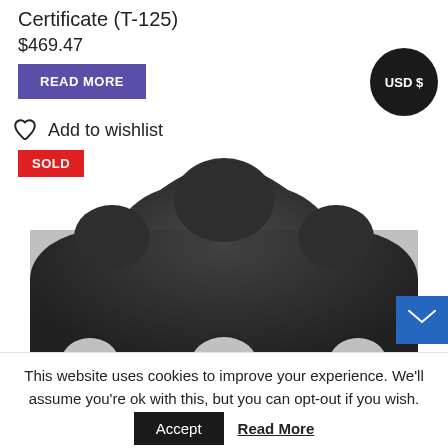Certificate (T-125)
$469.47
READ MORE
Add to wishlist
USD $
[Figure (photo): Dark charcoal/black shaped gasket or rubber part with rounded scalloped top edge and a notch at the bottom, with a red SOLD badge overlay]
This website uses cookies to improve your experience. We'll assume you're ok with this, but you can opt-out if you wish.
Accept
Read More